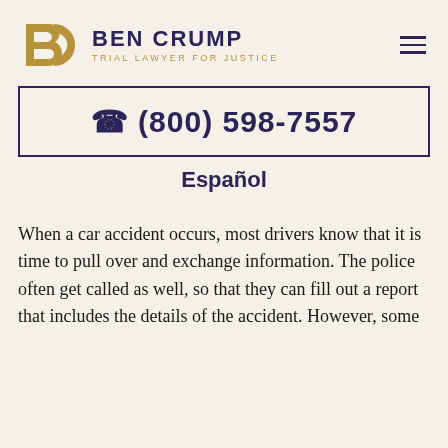[Figure (logo): Ben Crump Trial Lawyer For Justice logo with stylized BC monogram in gold and brand name in dark navy]
☎ (800) 598-7557
Español
When a car accident occurs, most drivers know that it is time to pull over and exchange information. The police often get called as well, so that they can fill out a report that includes the details of the accident. However, some